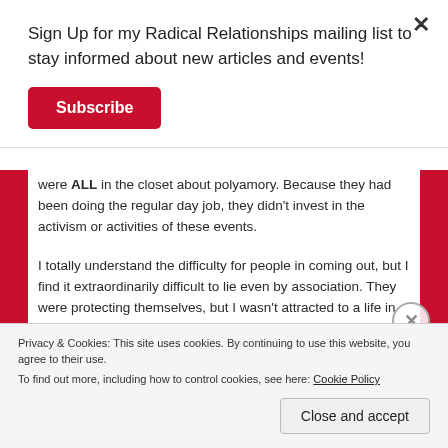Sign Up for my Radical Relationships mailing list to stay informed about new articles and events!
Subscribe
were ALL in the closet about polyamory. Because they had been doing the regular day job, they didn’t invest in the activism or activities of these events.
I totally understand the difficulty for people in coming out, but I find it extraordinarily difficult to lie even by association. They were protecting themselves, but I wasn’t attracted to a life in the closet.
Privacy & Cookies: This site uses cookies. By continuing to use this website, you agree to their use.
To find out more, including how to control cookies, see here: Cookie Policy
Close and accept